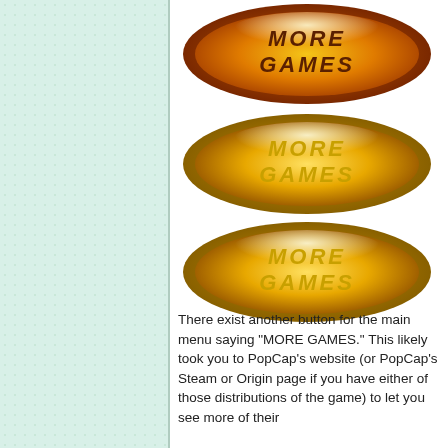[Figure (illustration): Three oval glossy buttons styled in orange-gold gradient with the text MORE GAMES in brown/yellow letters. The top button has a reddish-orange tone, the middle is more yellow-gold, and the bottom is similar yellow-gold.]
There exist another button for the main menu saying "MORE GAMES." This likely took you to PopCap's website (or PopCap's Steam or Origin page if you have either of those distributions of the game) to let you see more of their